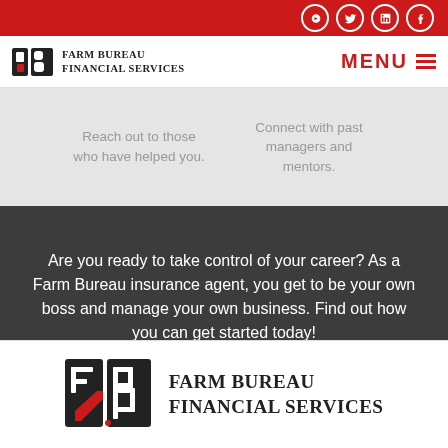Farm Bureau Financial Services — Navigation bar with social icons, logo, and MENU button
Reach out to those who have helped you.
Connect with past managers and mentors.
Are you ready to take control of your career? As a Farm Bureau insurance agent, you get to be your own boss and manage your own business. Find out how you can get started today!
BE YOUR OWN BOSS
[Figure (logo): Farm Bureau Financial Services logo with FB shield emblem and company name in serif uppercase text]